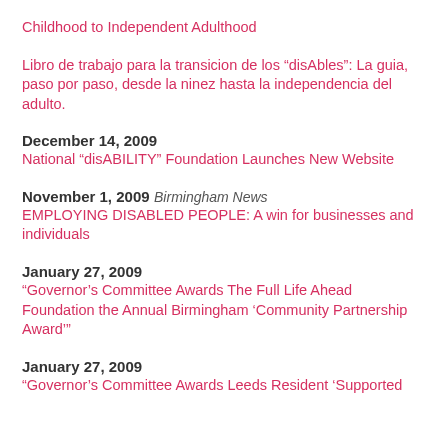Childhood to Independent Adulthood
Libro de trabajo para la transicion de los “disAbles”: La guia, paso por paso, desde la ninez hasta la independencia del adulto.
December 14, 2009
National “disABILITY” Foundation Launches New Website
November 1, 2009
Birmingham News
EMPLOYING DISABLED PEOPLE: A win for businesses and individuals
January 27, 2009
“Governor’s Committee Awards The Full Life Ahead Foundation the Annual Birmingham ‘Community Partnership Award’”
January 27, 2009
“Governor’s Committee Awards Leeds Resident ‘Supported